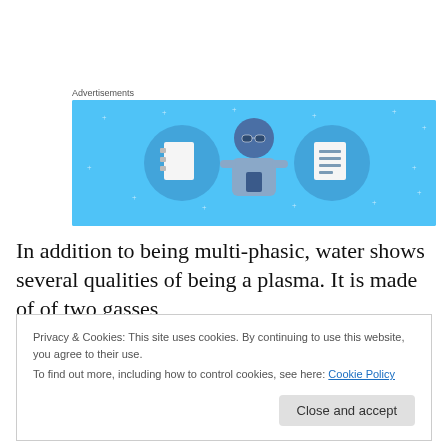Advertisements
[Figure (illustration): Advertisement banner with light blue background showing a cartoon person holding a phone, flanked by icons of a notebook and a document list.]
In addition to being multi-phasic, water shows several qualities of being a plasma. It is made of of two gasses,
Privacy & Cookies: This site uses cookies. By continuing to use this website, you agree to their use.
To find out more, including how to control cookies, see here: Cookie Policy

Close and accept
In the 1990's French scientists Rolland Conte and Yves